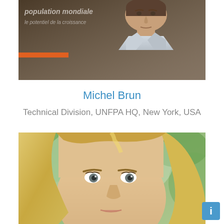[Figure (photo): Portrait photo of Michel Brun against a dark background with French text overlay reading 'population mondiale' and 'le potentiel de la croissance', with an orange bar element visible]
Michel Brun
Technical Division, UNFPA HQ, New York, USA
[Figure (photo): Close-up portrait photo of a blonde woman outdoors with green foliage in background]